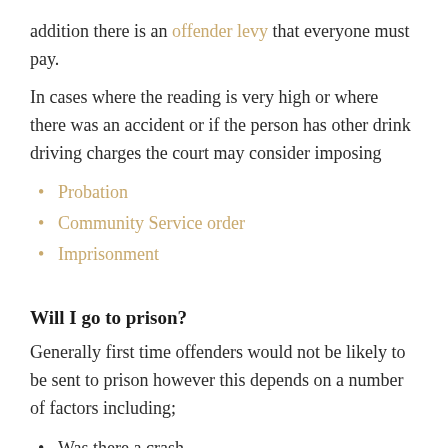addition there is an offender levy that everyone must pay.
In cases where the reading is very high or where there was an accident or if the person has other drink driving charges the court may consider imposing
Probation
Community Service order
Imprisonment
Will I go to prison?
Generally first time offenders would not be likely to be sent to prison however this depends on a number of factors including;
Was there a crash